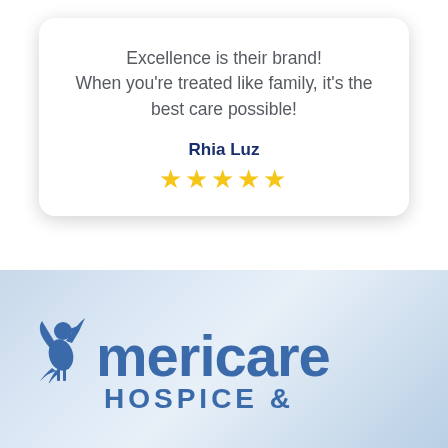Excellence is their brand! When you're treated like family, it's the best care possible!
Rhia Luz
★★★★★
[Figure (logo): Americare Hospice & logo with a bird/dove icon above the text 'Americare' in large bold blue letters, and 'HOSPICE &' below in spaced capital letters, all on a light blue gradient background.]